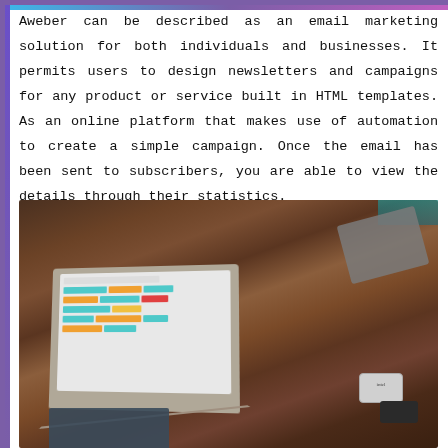Aweber can be described as an email marketing solution for both individuals and businesses. It permits users to design newsletters and campaigns for any product or service built in HTML templates. As an online platform that makes use of automation to create a simple campaign. Once the email has been sent to subscribers, you are able to view the details through their statistics.
[Figure (photo): A person sitting on a brown leather sofa using a laptop computer. The laptop screen displays a colorful schedule or kanban-style interface. A gray tablet/notebook and two small electronic devices (one silver, one black) are on the couch beside them. A monitor or TV is partially visible in the top right background.]